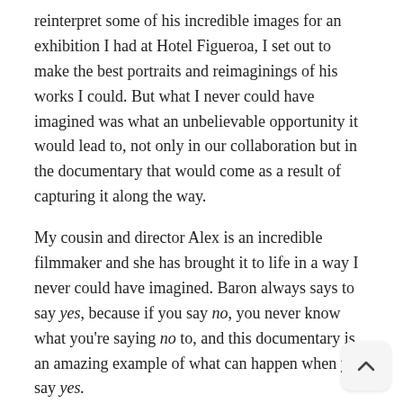reinterpret some of his incredible images for an exhibition I had at Hotel Figueroa, I set out to make the best portraits and reimaginings of his works I could. But what I never could have imagined was what an unbelievable opportunity it would lead to, not only in our collaboration but in the documentary that would come as a result of capturing it along the way.
My cousin and director Alex is an incredible filmmaker and she has brought it to life in a way I never could have imagined. Baron always says to say yes, because if you say no, you never know what you're saying no to, and this documentary is an amazing example of what can happen when you say yes.
What are some organizations that you have your eye on at the moment?
So much important work is happening right now. Black Lives Matter, Grassroots Law, and Campaign Zero, to name